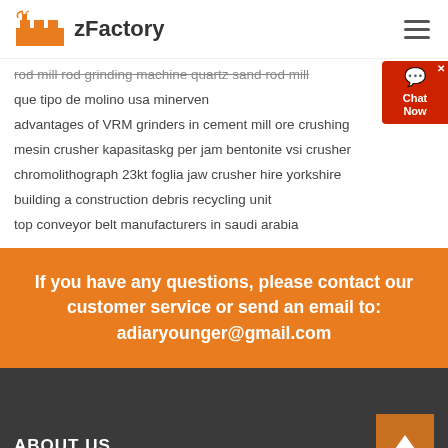zFactory
rod mill rod grinding machine quartz sand rod mill
que tipo de molino usa minerven
advantages of VRM grinders in cement mill ore crushing
mesin crusher kapasitaskg per jam bentonite vsi crusher
chromolithograph 23kt foglia jaw crusher hire yorkshire
building a construction debris recycling unit
top conveyor belt manufacturers in saudi arabia
If you have any questions, please contact our customer service or send an email to: adiaryounger@gmail.com
ABOUT US